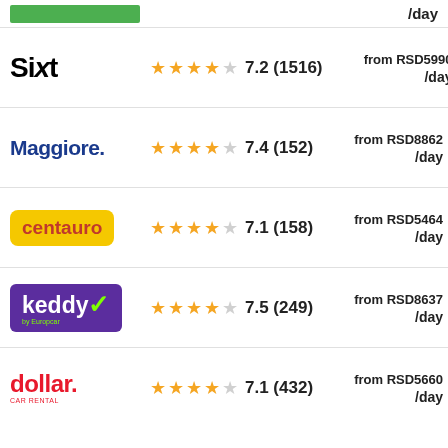| Company | Stars | Score | Price |
| --- | --- | --- | --- |
| (green bar logo) | ★★★★☆ |  | /day |
| Sixt | ★★★★☆ | 7.2 (1516) | from RSD5990 /day |
| Maggiore | ★★★★☆ | 7.4 (152) | from RSD8862 /day |
| centauro | ★★★★☆ | 7.1 (158) | from RSD5464 /day |
| keddy by Europcar | ★★★★☆ | 7.5 (249) | from RSD8637 /day |
| dollar. | ★★★★☆ | 7.1 (432) | from RSD5660 /day |